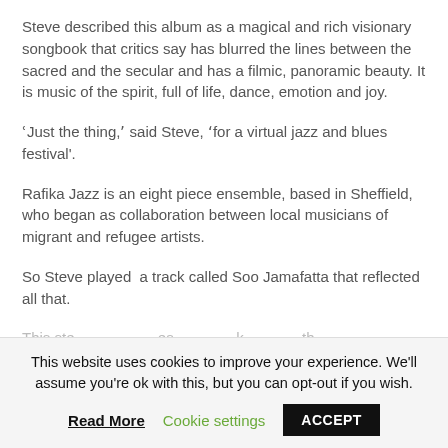Steve described this album as a magical and rich visionary songbook that critics say has blurred the lines between the sacred and the secular and has a filmic, panoramic beauty. It is music of the spirit, full of life, dance, emotion and joy.
ʿJust the thing,ʼ said Steve, ʼfor a virtual jazz and blues festivalʼ.
Rafika Jazz is an eight piece ensemble, based in Sheffield, who began as collaboration between local musicians of migrant and refugee artists.
So Steve played  a track called Soo Jamafatta that reflected all that.
This website uses cookies to improve your experience. We’ll assume you’re ok with this, but you can opt-out if you wish.
Read More | Cookie settings | ACCEPT